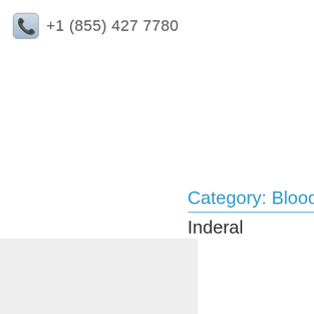+1 (855) 427 7780
Category: Blood
Inderal